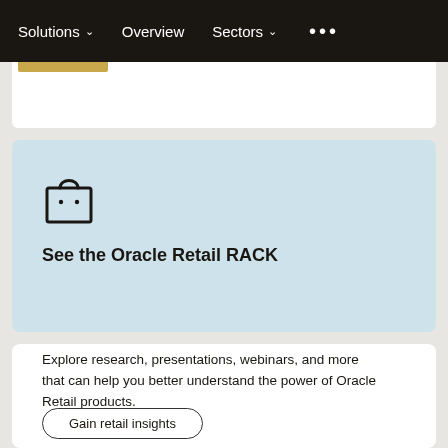Solutions  Overview  Sectors  ...
[Figure (illustration): Shopping bag outline icon, black on light blue background]
See the Oracle Retail RACK
Explore research, presentations, webinars, and more that can help you better understand the power of Oracle Retail products.
Gain retail insights